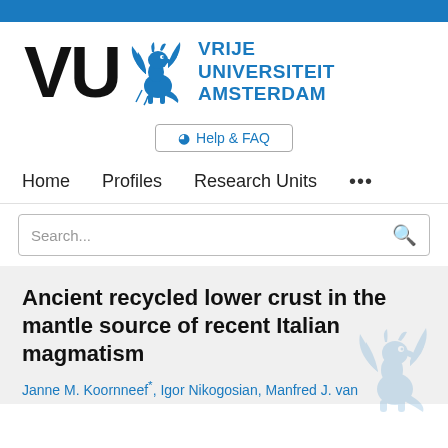[Figure (logo): VU Amsterdam logo with black 'VU' letters, blue griffin, and blue text 'VRIJE UNIVERSITEIT AMSTERDAM']
⊕ Help & FAQ
Home   Profiles   Research Units   ...
Search...
Ancient recycled lower crust in the mantle source of recent Italian magmatism
Janne M. Koornneef*, Igor Nikogosian, Manfred J. van